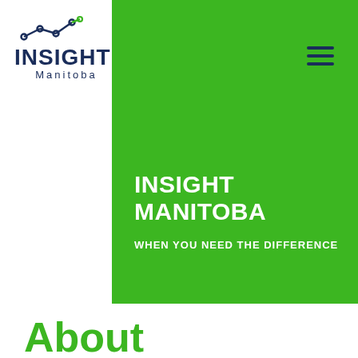[Figure (logo): Insight Manitoba logo with line chart icon above text reading INSIGHT in dark navy bold and Manitoba in spaced letters below]
[Figure (infographic): Hamburger menu icon (three horizontal dark navy lines) in the top right of the green header]
INSIGHT MANITOBA
WHEN YOU NEED THE DIFFERENCE
About